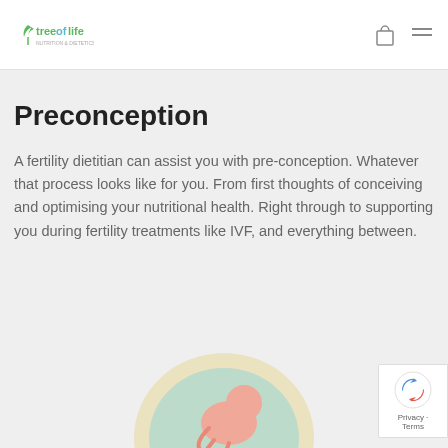[Figure (logo): Tree of Life logo with green leaf icon and teal/green text]
Preconception
A fertility dietitian can assist you with pre-conception. Whatever that process looks like for you. From first thoughts of conceiving and optimising your nutritional health. Right through to supporting you during fertility treatments like IVF, and everything between.
[Figure (illustration): Circular illustration of a fetus/embryo in a womb, pastel colors, teal and peach tones]
[Figure (other): reCAPTCHA badge with Privacy and Terms links]